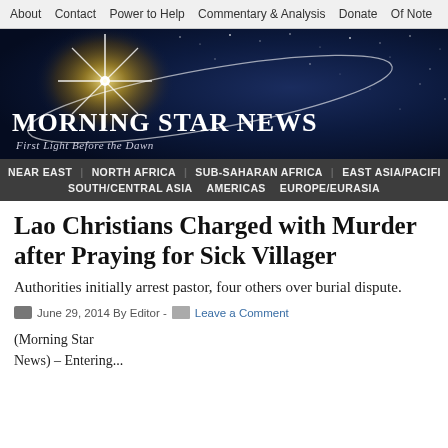About  Contact  Power to Help  Commentary & Analysis  Donate  Of Note
[Figure (illustration): Morning Star News website banner with star/starburst graphic on dark blue night sky background. Text reads: MORNING STAR NEWS — First Light Before the Dawn]
NEAR EAST | NORTH AFRICA | SUB-SAHARAN AFRICA | EAST ASIA/PACIFIC | SOUTH/CENTRAL ASIA | AMERICAS | EUROPE/EURASIA
Lao Christians Charged with Murder after Praying for Sick Villager
Authorities initially arrest pastor, four others over burial dispute.
June 29, 2014 By Editor -  Leave a Comment
(Morning Star News) – Entering...